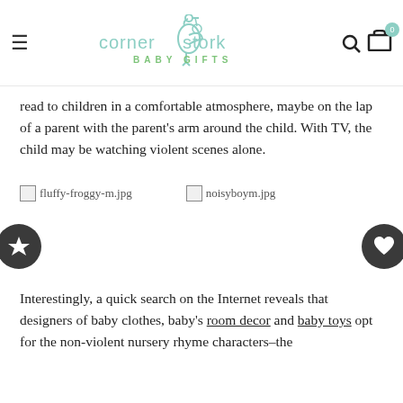corner stork baby gifts — navigation header with hamburger menu, logo, search and cart icons
read to children in a comfortable atmosphere, maybe on the lap of a parent with the parent's arm around the child. With TV, the child may be watching violent scenes alone.
[Figure (other): Broken image placeholder labeled fluffy-froggy-m.jpg]
[Figure (other): Broken image placeholder labeled noisyboym.jpg]
Interestingly, a quick search on the Internet reveals that designers of baby clothes, baby's room decor and baby toys opt for the non-violent nursery rhyme characters–the